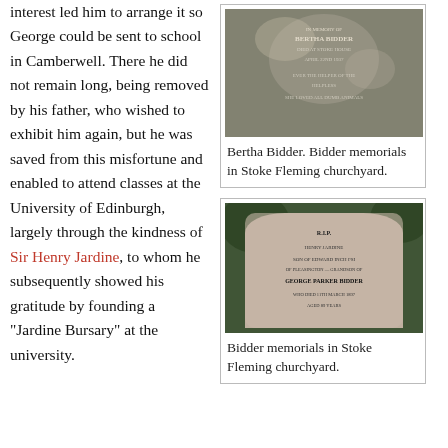interest led him to arrange it so George could be sent to school in Camberwell. There he did not remain long, being removed by his father, who wished to exhibit him again, but he was saved from this misfortune and enabled to attend classes at the University of Edinburgh, largely through the kindness of Sir Henry Jardine, to whom he subsequently showed his gratitude by founding a "Jardine Bursary" at the university.
[Figure (photo): Gravestone/memorial of Bertha Bidder with engraved text, covered in lichen, in Stoke Fleming churchyard.]
Bertha Bidder. Bidder memorials in Stoke Fleming churchyard.
[Figure (photo): Granite gravestone memorial for Henry Jardine, son of Edward Inch FSI, grandson of George Parker Bidder, who died 11 March 1897, aged 89 years, in Stoke Fleming churchyard.]
Bidder memorials in Stoke Fleming churchyard.